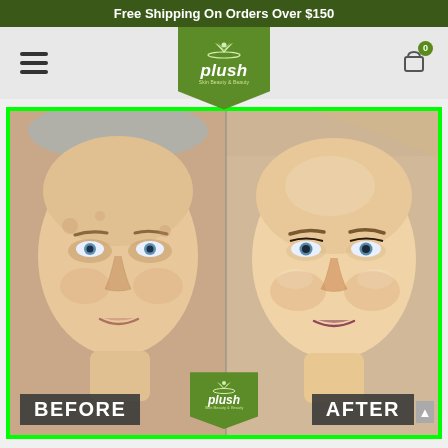Free Shipping On Orders Over $150
[Figure (logo): Plush Skin Beauty & Booze logo in green pentagon/shield shape with lotus flower icon]
[Figure (photo): Before and after facial treatment comparison photo bordered in bright green. Left side shows woman's face before treatment with visible skin imperfections. Right side shows same woman's face after treatment with smoother, more luminous skin. Labels BEFORE and AFTER appear at bottom corners. Plush logo centered at bottom.]